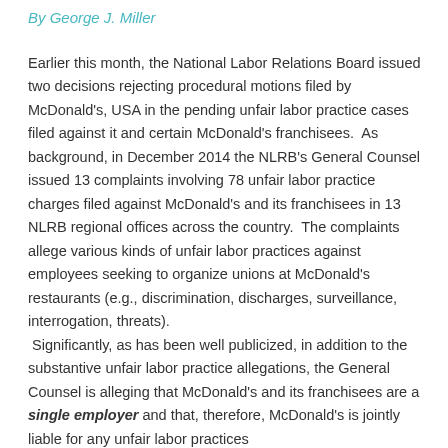By George J. Miller
Earlier this month, the National Labor Relations Board issued two decisions rejecting procedural motions filed by McDonald's, USA in the pending unfair labor practice cases filed against it and certain McDonald's franchisees. As background, in December 2014 the NLRB's General Counsel issued 13 complaints involving 78 unfair labor practice charges filed against McDonald's and its franchisees in 13 NLRB regional offices across the country. The complaints allege various kinds of unfair labor practices against employees seeking to organize unions at McDonald's restaurants (e.g., discrimination, discharges, surveillance, interrogation, threats). Significantly, as has been well publicized, in addition to the substantive unfair labor practice allegations, the General Counsel is alleging that McDonald's and its franchisees are a single employer and that, therefore, McDonald's is jointly liable for any unfair labor practices